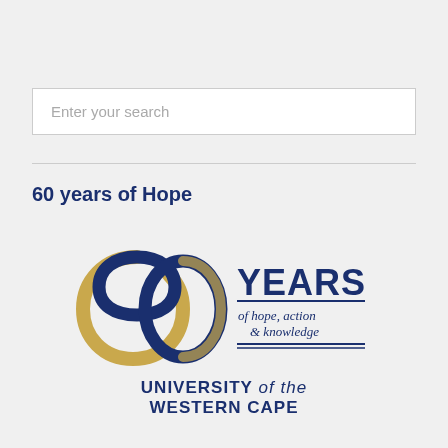Enter your search
60 years of Hope
[Figure (logo): University of the Western Cape 60 Years of hope, action & knowledge logo — stylized '60' numeral in navy and gold with 'YEARS of hope, action & knowledge' text]
UNIVERSITY of the WESTERN CAPE